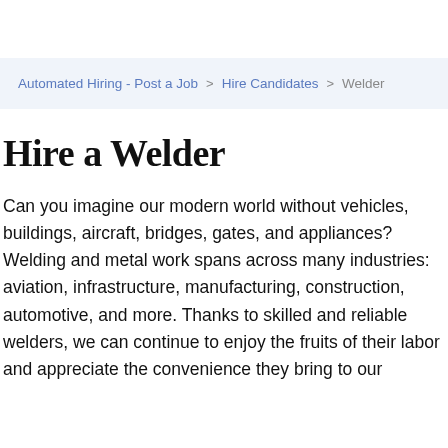Automated Hiring - Post a Job > Hire Candidates > Welder
Hire a Welder
Can you imagine our modern world without vehicles, buildings, aircraft, bridges, gates, and appliances? Welding and metal work spans across many industries: aviation, infrastructure, manufacturing, construction, automotive, and more. Thanks to skilled and reliable welders, we can continue to enjoy the fruits of their labor and appreciate the convenience they bring to our